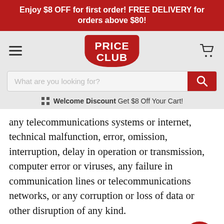Enjoy $8 OFF for first order! FREE DELIVERY for orders above $80!
[Figure (logo): Price Club logo - red shield shaped badge with white text PRICE CLUB]
What are you looking for?
Welcome Discount Get $8 Off Your Cart!
any telecommunications systems or internet, technical malfunction, error, omission, interruption, delay in operation or transmission, computer error or viruses, any failure in communication lines or telecommunications networks, or any corruption or loss of data or other disruption of any kind.
11.4. All express and implied warranties or conditions,